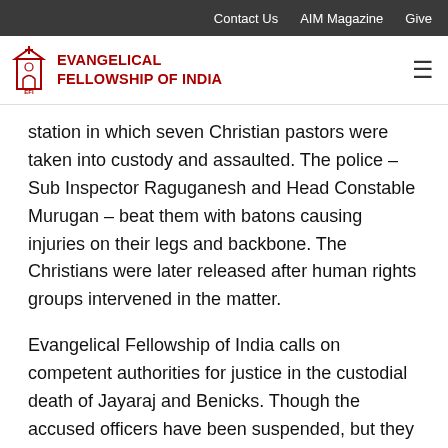Contact Us   AIM Magazine   Give
EVANGELICAL FELLOWSHIP OF INDIA
station in which seven Christian pastors were taken into custody and assaulted. The police – Sub Inspector Raguganesh and Head Constable Murugan – beat them with batons causing injuries on their legs and backbone. The Christians were later released after human rights groups intervened in the matter.
Evangelical Fellowship of India calls on competent authorities for justice in the custodial death of Jayaraj and Benicks. Though the accused officers have been suspended, but they are free to terrorise witnesses. They must be